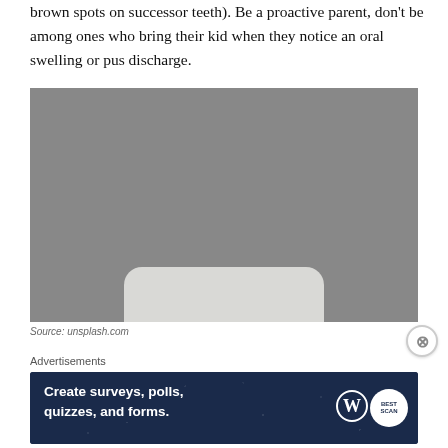brown spots on successor teeth). Be a proactive parent, don't be among ones who bring their kid when they notice an oral swelling or pus discharge.
[Figure (photo): A smiling baby in a yellow long-sleeve shirt sitting in a high chair, holding a blue spoon/toothbrush, with a teal dresser and window visible in background.]
Source: unsplash.com
Advertisements
[Figure (other): Advertisement banner with dark blue background and stars: 'Create surveys, polls, quizzes, and forms.' with WordPress and a badge logo on the right.]